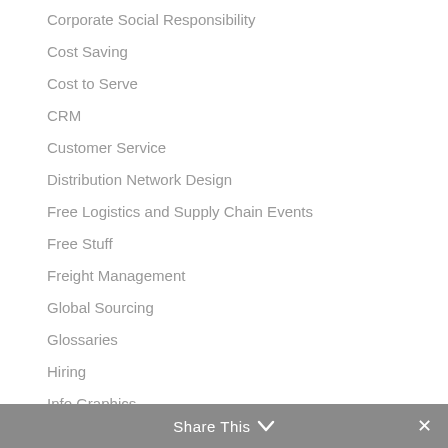Corporate Social Responsibility
Cost Saving
Cost to Serve
CRM
Customer Service
Distribution Network Design
Free Logistics and Supply Chain Events
Free Stuff
Freight Management
Global Sourcing
Glossaries
Hiring
Info Graphics
Inventory – S&OP
Share This ∨  ✕